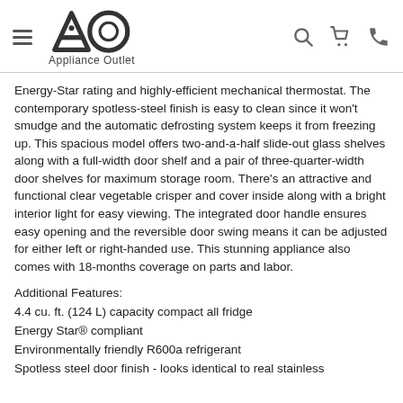AO Appliance Outlet
Energy-Star rating and highly-efficient mechanical thermostat. The contemporary spotless-steel finish is easy to clean since it won't smudge and the automatic defrosting system keeps it from freezing up. This spacious model offers two-and-a-half slide-out glass shelves along with a full-width door shelf and a pair of three-quarter-width door shelves for maximum storage room. There's an attractive and functional clear vegetable crisper and cover inside along with a bright interior light for easy viewing. The integrated door handle ensures easy opening and the reversible door swing means it can be adjusted for either left or right-handed use. This stunning appliance also comes with 18-months coverage on parts and labor.
Additional Features:
4.4 cu. ft. (124 L) capacity compact all fridge
Energy Star® compliant
Environmentally friendly R600a refrigerant
Spotless steel door finish - looks identical to real stainless steel but without the marking issues